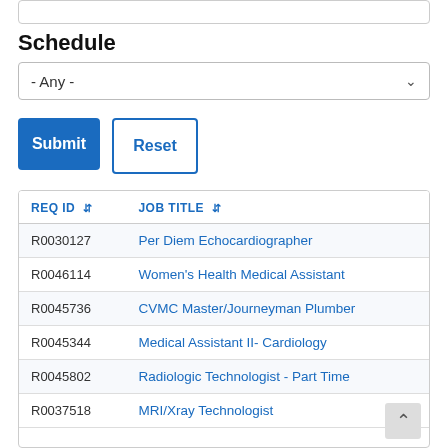Schedule
- Any -
Submit
Reset
| REQ ID | JOB TITLE |
| --- | --- |
| R0030127 | Per Diem Echocardiographer |
| R0046114 | Women's Health Medical Assistant |
| R0045736 | CVMC Master/Journeyman Plumber |
| R0045344 | Medical Assistant II- Cardiology |
| R0045802 | Radiologic Technologist - Part Time |
| R0037518 | MRI/Xray Technologist |